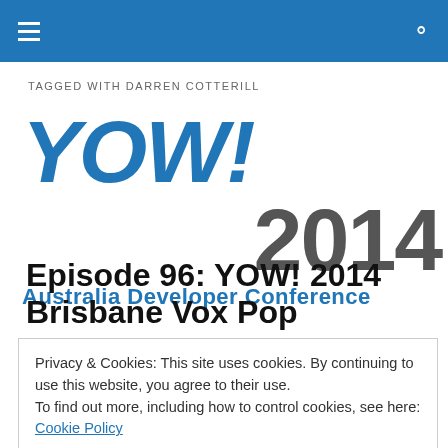TAGGED WITH DARREN COTTERILL
[Figure (logo): YOW! 2014 Australia Developer Conference logo. YOW! in large bold blue italic text, 2014 in large bold grey text, and 'Australia Developer Conference' in bold blue below.]
Episode 96: YOW! 2014 Brisbane Vox Pop
Privacy & Cookies: This site uses cookies. By continuing to use this website, you agree to their use. To find out more, including how to control cookies, see here: Cookie Policy
Clearing out the backlog, Craig and Tony roam the